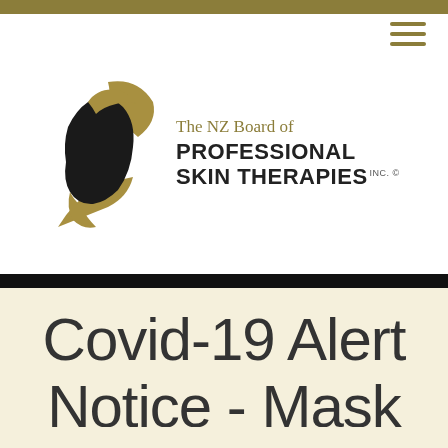[Figure (logo): The NZ Board of Professional Skin Therapies Inc. logo with a silhouetted face profile and golden leaf/wing design]
Covid-19 Alert Notice - Mask